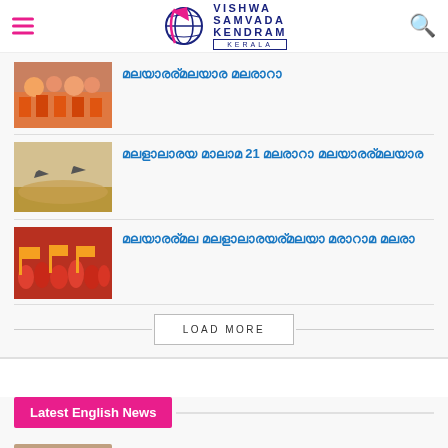Vishwa Samvada Kendram Kerala
[Figure (photo): News thumbnail: people in saffron robes/crowd]
മലയാളം ഹെഡ്‌ലൈൻ 1 (Malayalam headline in blue)
[Figure (photo): News thumbnail: fighter jets flying over dusty terrain]
മലയാളം ഹെഡ്‌ലൈൻ 21 ക്ലൗഡ് പ്ലേസ്‌ഹോൾഡർ
[Figure (photo): News thumbnail: large crowd with orange flags]
മലയാളം ഹെഡ്‌ലൈൻ ലോകം ടൈറ്റിൽ
LOAD MORE
Latest English News
[Figure (photo): English news thumbnail: portrait photo]
UK – Glasgow museum returns seven